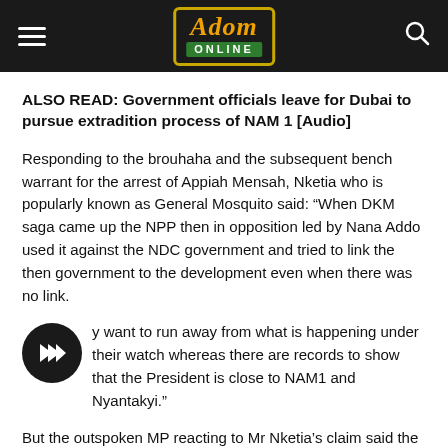Adom Online
ALSO READ: Government officials leave for Dubai to pursue extradition process of NAM 1 [Audio]
Responding to the brouhaha and the subsequent bench warrant for the arrest of Appiah Mensah, Nketia who is popularly known as General Mosquito said: “When DKM saga came up the NPP then in opposition led by Nana Addo used it against the NDC government and tried to link the then government to the development even when there was no link.
y want to run away from what is happening under their watch whereas there are records to show that the President is close to NAM1 and Nyantakyi.”
But the outspoken MP reacting to Mr Nketia’s claim said the NDC is blaming Akufo Addo because their monies have also been locked up in the gold firm.